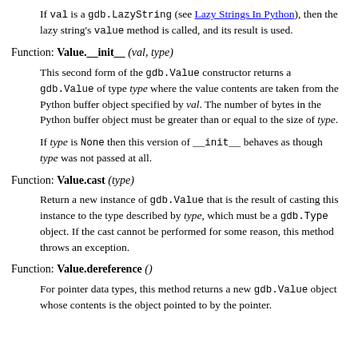If val is a gdb.LazyString (see Lazy Strings In Python), then the lazy string's value method is called, and its result is used.
Function: Value.__init__ (val, type)
This second form of the gdb.Value constructor returns a gdb.Value of type type where the value contents are taken from the Python buffer object specified by val. The number of bytes in the Python buffer object must be greater than or equal to the size of type.
If type is None then this version of __init__ behaves as though type was not passed at all.
Function: Value.cast (type)
Return a new instance of gdb.Value that is the result of casting this instance to the type described by type, which must be a gdb.Type object. If the cast cannot be performed for some reason, this method throws an exception.
Function: Value.dereference ()
For pointer data types, this method returns a new gdb.Value object whose contents is the object pointed to by the pointer.